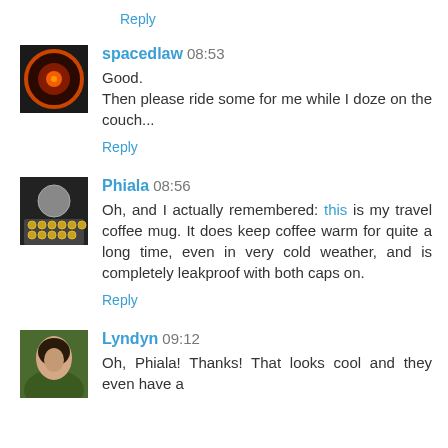Reply
spacedlaw 08:53
Good.
Then please ride some for me while I doze on the couch...
Reply
Phiala 08:56
Oh, and I actually remembered: this is my travel coffee mug. It does keep coffee warm for quite a long time, even in very cold weather, and is completely leakproof with both caps on.
Reply
Lyndyn 09:12
Oh, Phiala! Thanks! That looks cool and they even have a ...